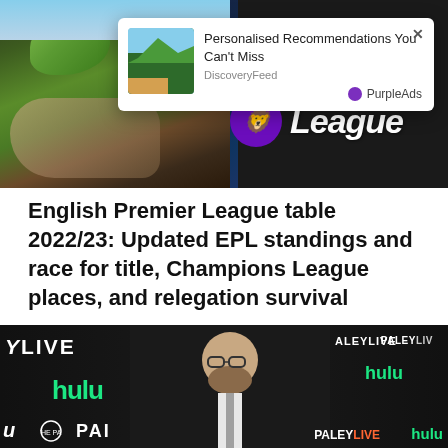[Figure (photo): Screenshot of a webpage showing a Premier League logo/banner image with an overlay advertisement popup from PurpleAds/DiscoveryFeed saying 'Personalised Recommendations You Can't Miss']
English Premier League table 2022/23: Updated EPL standings and race for title, Champions League places, and relegation survival
[Figure (photo): Man with beard and glasses at a Paley Live event with Hulu branding on a step-and-repeat backdrop]